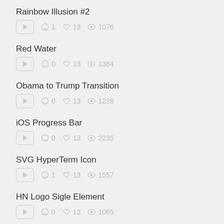Rainbow Illusion #2 — comments: 1, likes: 13, views: 1076
Red Water — comments: 0, likes: 13, views: 1384
Obama to Trump Transition — comments: 0, likes: 13, views: 1228
iOS Progress Bar — comments: 0, likes: 13, views: 2235
SVG HyperTerm Icon — comments: 1, likes: 13, views: 1557
HN Logo Sigle Element — comments: 0, likes: 13, views: 1065